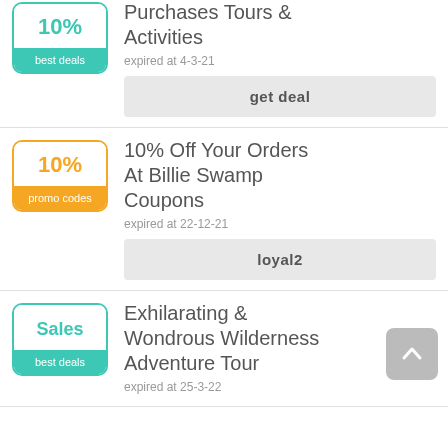[Figure (other): Deal card 1: badge with 10% (teal, best deals), title 'Purchases Tours & Activities', expired at 4-3-21, get deal button]
[Figure (other): Deal card 2: badge with 10% (orange, promo codes), title '10% Off Your Orders At Billie Swamp Coupons', expired at 22-12-21, promo code 'loyal2']
[Figure (other): Deal card 3: badge with Sales (teal, best deals), title 'Exhilarating & Wondrous Wilderness Adventure Tour', expired at 25-3-22, scroll-to-top button visible]